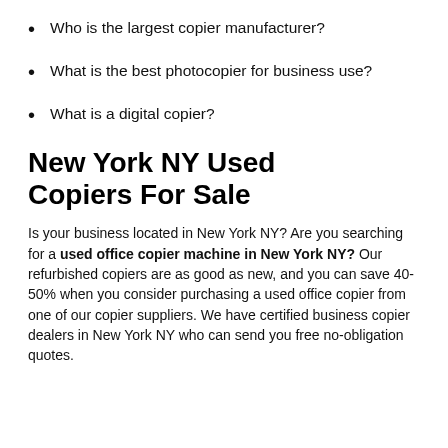Who is the largest copier manufacturer?
What is the best photocopier for business use?
What is a digital copier?
New York NY Used Copiers For Sale
Is your business located in New York NY? Are you searching for a used office copier machine in New York NY? Our refurbished copiers are as good as new, and you can save 40-50% when you consider purchasing a used office copier from one of our copier suppliers. We have certified business copier dealers in New York NY who can send you free no-obligation quotes.